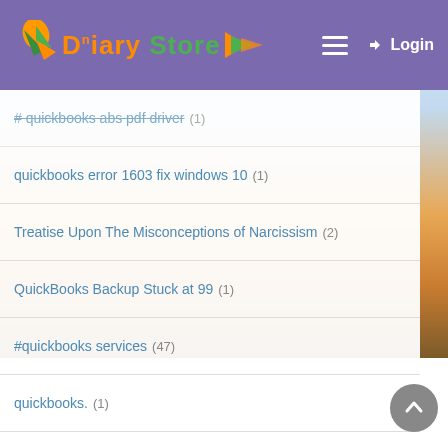Diary Store — Login
# quickbooks abs pdf driver (1)
quickbooks error 1603 fix windows 10 (1)
Treatise Upon The Misconceptions of Narcissism (2)
QuickBooks Backup Stuck at 99 (1)
#quickbooks services (47)
quickbooks. (1)
#qbpos invalid product number 176109 (1)
Muay Thai Gym (1)
packing and moving companies dubai (6)
I am Getting Update Error 15240 (1)
Jobs (1)
Seismic Geophones Houston TX (1)
#quickbooks multi user error (1)